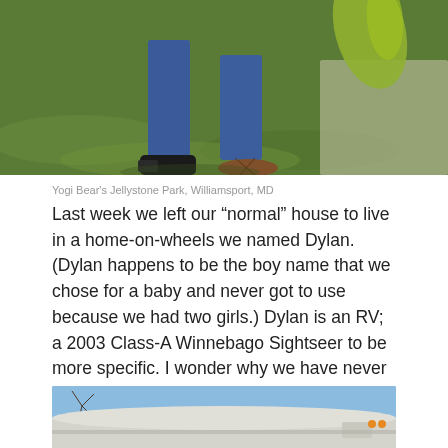[Figure (photo): Photo showing two people's legs and feet standing on green grass. One person wears dark jeans with black sneakers, the other wears jeans with sandals. A large green plant leaf is visible in the upper right, and a sidewalk/path is partially visible on the right side.]
Yogi Bear's Jellystone Park, Williamsport, MD
Last week we left our “normal” house to live in a home-on-wheels we named Dylan. (Dylan happens to be the boy name that we chose for a baby and never got to use because we had two girls.) Dylan is an RV; a 2003 Class-A Winnebago Sightseer to be more specific. I wonder why we have never named our homes before? We have lived in twenty different homes and I have never thought to name any of them.
[Figure (photo): Partial photo showing the front/top of a white RV or motorhome against a blue sky with bare tree branches visible.]